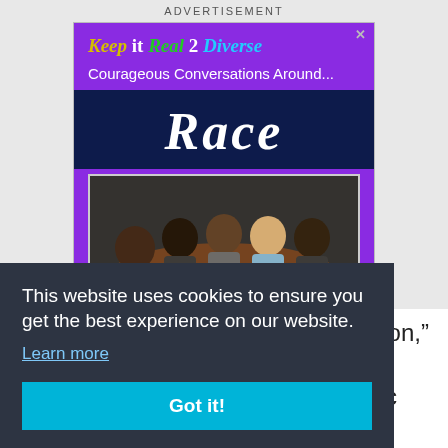ADVERTISEMENT
[Figure (infographic): Advertisement for 'Keep it Real 2 Diverse' featuring the word 'Race' in italic script on a dark navy band, with a photo of a diverse group of people sitting around a table engaged in a board game or activity, set against a purple background.]
This website uses cookies to ensure you get the best experience on our website.
Learn more
Got it!
"It cannot keep the quality of education," Gordon said, adding that education reform should be viewed as a public health issue that